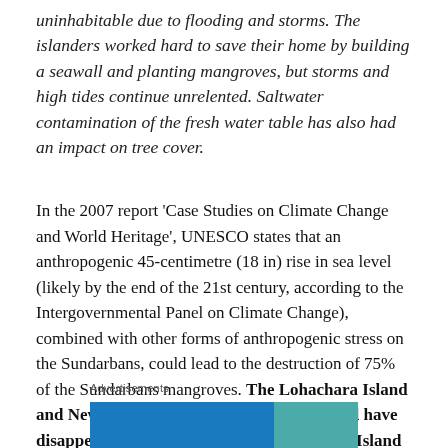uninhabitable due to flooding and storms. The islanders worked hard to save their home by building a seawall and planting mangroves, but storms and high tides continue unrelented. Saltwater contamination of the fresh water table has also had an impact on tree cover.
In the 2007 report 'Case Studies on Climate Change and World Heritage', UNESCO states that an anthropogenic 45-centimetre (18 in) rise in sea level (likely by the end of the 21st century, according to the Intergovernmental Panel on Climate Change), combined with other forms of anthropogenic stress on the Sundarbans, could lead to the destruction of 75% of the Sundarbans mangroves. The Lohachara Island and New Moore Island/South Talpatti Island have disappeared under the sea, and Ghoramara Island is half submerged.
Advertisements